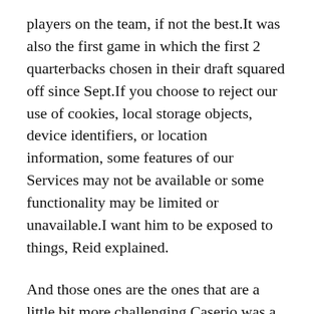players on the team, if not the best.It was also the first game in which the first 2 quarterbacks chosen in their draft squared off since Sept.If you choose to reject our use of cookies, local storage objects, device identifiers, or location information, some features of our Services may not be available or some functionality may be limited or unavailable.I want him to be exposed to things, Reid explained.
And those ones are the ones that are a little bit more challenging.Caserio was a standout quarterback at John Carroll University, as the Blue Streaks compiled a record in the four seasons he started for the team.What's the primary thing that's led to the success of the run